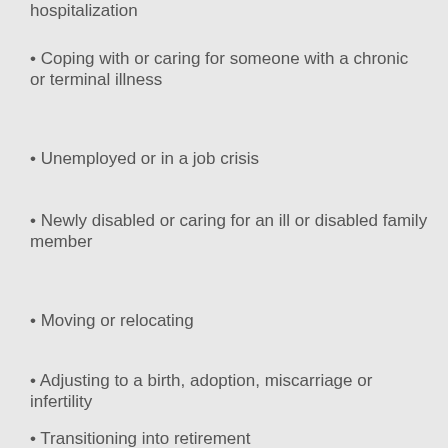hospitalization
Coping with or caring for someone with a chronic or terminal illness
Unemployed or in a job crisis
Newly disabled or caring for an ill or disabled family member
Moving or relocating
Adjusting to a birth, adoption, miscarriage or infertility
Transitioning into retirement